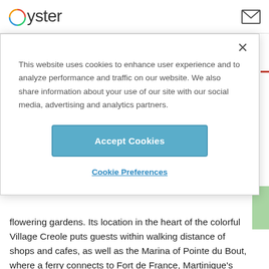Oyster
This website uses cookies to enhance user experience and to analyze performance and traffic on our website. We also share information about your use of our site with our social media, advertising and analytics partners.
Accept Cookies
Cookie Preferences
flowering gardens. Its location in the heart of the colorful Village Creole puts guests within walking distance of shops and cafes, as well as the Marina of Pointe du Bout, where a ferry connects to Fort de France, Martinique's capital city, in 20 minutes. The hotel's open-air lobby with a small cocktail bar and billiards table serves as the